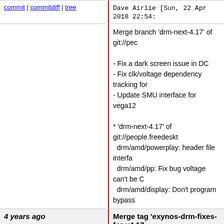commit | commitdiff | tree   Dave Airlie [Sun, 22 Apr 2018 22:54:...
Merge branch 'drm-next-4.17' of git://peo...
- Fix a dark screen issue in DC
- Fix clk/voltage dependency tracking for...
- Update SMU interface for vega12

* 'drm-next-4.17' of git://people.freedeskt...
  drm/amd/powerplay: header file interfa...
  drm/amd/pp: Fix bug voltage can't be C...
  drm/amd/display: Don't program bypass...
4 years ago
Merge tag 'exynos-drm-fixes-for-v4.17...
commit | commitdiff | tree   Dave Airlie [Sun, 22 Apr 2018 22:53:...
Merge tag 'exynos-drm-fixes-for-v4.17-ro...
exynos into drm-next

Remove Exynos specific framebuffer stru...
relevant functions.
- it removes exynos_drm_fb structure wh...
  drm_framebuffer and unnecessary two...
  functions, exynos_drm_destory() and e...